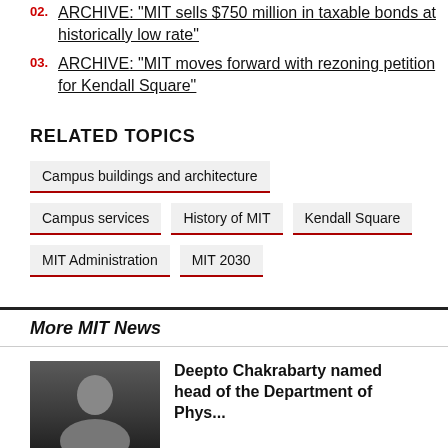02. ARCHIVE: "MIT sells $750 million in taxable bonds at historically low rate"
03. ARCHIVE: "MIT moves forward with rezoning petition for Kendall Square"
RELATED TOPICS
Campus buildings and architecture
Campus services
History of MIT
Kendall Square
MIT Administration
MIT 2030
More MIT News
Deepto Chakrabarty named head of the Department of Phys...
[Figure (photo): Portrait photo of Deepto Chakrabarty]